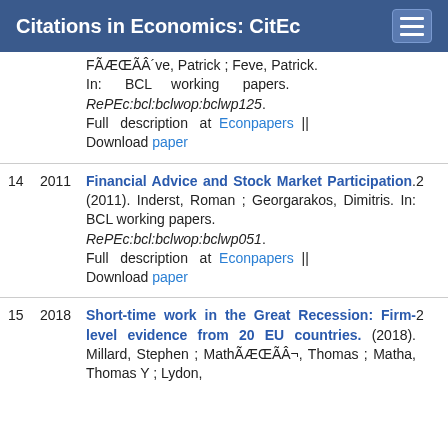Citations in Economics: CitEc
FÃÆœÃÂ´ve, Patrick ; Feve, Patrick. In: BCL working papers. RePEc:bcl:bclwop:bclwp125. Full description at Econpapers || Download paper
14 2011 Financial Advice and Stock Market Participation. (2011). Inderst, Roman ; Georgarakos, Dimitris. In: BCL working papers. RePEc:bcl:bclwop:bclwp051. Full description at Econpapers || Download paper. 2
15 2018 Short-time work in the Great Recession: Firm-level evidence from 20 EU countries. (2018). Millard, Stephen ; MathÃÆœÃÂ¬, Thomas ; Matha, Thomas Y ; Lydon, 2